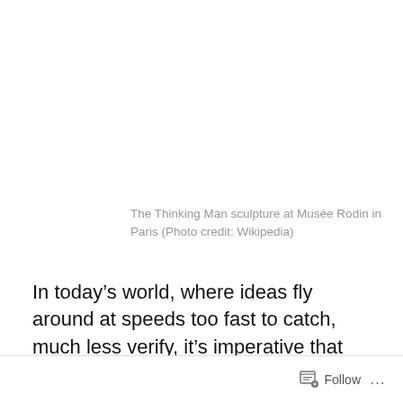The Thinking Man sculpture at Musée Rodin in Paris (Photo credit: Wikipedia)
In today’s world, where ideas fly around at speeds too fast to catch, much less verify, it’s imperative that we raise our children to think. You may think I’m stating the obvious. I wish I were.
Follow …